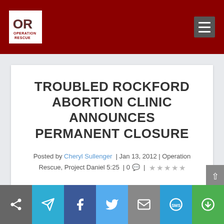[Figure (logo): Operation Rescue logo - white box with OR letters and text, on dark red background header with hamburger menu icon]
TROUBLED ROCKFORD ABORTION CLINIC ANNOUNCES PERMANENT CLOSURE
Posted by Cheryl Sullenger | Jan 13, 2012 | Operation Rescue, Project Daniel 5:25 | 0 💬 |  ☆☆☆☆☆
[Figure (infographic): Social sharing bar with 7 icon buttons: share (gray), send/telegram (teal), Facebook (dark blue), Twitter (light blue), email (gray), SMS (blue), and a circular icon (green)]